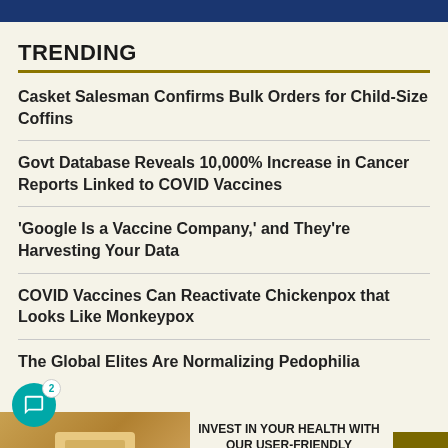TRENDING
Casket Salesman Confirms Bulk Orders for Child-Size Coffins
Govt Database Reveals 10,000% Increase in Cancer Reports Linked to COVID Vaccines
'Google Is a Vaccine Company,' and They're Harvesting Your Data
COVID Vaccines Can Reactivate Chickenpox that Looks Like Monkeypox
The Global Elites Are Normalizing Pedophilia
[Figure (screenshot): Bottom portion showing a comment badge with number 2, a partial advertisement image with text 'INVEST IN YOUR HEALTH WITH OUR USER-FRIENDLY RICE MACHINE', and a scroll-to-top button]